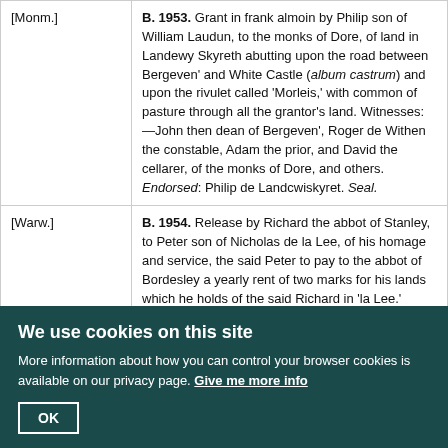| Location | Entry |
| --- | --- |
| [Monm.] | B. 1953. Grant in frank almoin by Philip son of William Laudun, to the monks of Dore, of land in Landewy Skyreth abutting upon the road between Bergeven' and White Castle (album castrum) and upon the rivulet called 'Morleis,' with common of pasture through all the grantor's land. Witnesses:—John then dean of Bergeven', Roger de Withen the constable, Adam the prior, and David the cellarer, of the monks of Dore, and others. Endorsed: Philip de Landcwiskyret. Seal. |
| [Warw.] | B. 1954. Release by Richard the abbot of Stanley, to Peter son of Nicholas de la Lee, of his homage and service, the said Peter to pay to the abbot of Bordesley a yearly rent of two marks for his lands which he holds of the said Richard in 'la Lee.' Witnesses:—Robert le Hore, Thomas Pavy, Philip le Norischun, Robert de Wellesburne, and Robert Amfrey. [Henry III.] |
| Hunt. | B. 1955. Release by William de Apemer', parson of the |
We use cookies on this site. More information about how you can control your browser cookies is available on our privacy page. Give me more info. OK.